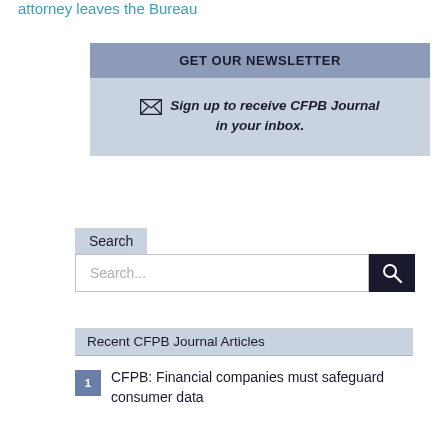attorney leaves the Bureau
GET OUR NEWSLETTER
Sign up to receive CFPB Journal in your inbox.
Search
Search...
Recent CFPB Journal Articles
1 CFPB: Financial companies must safeguard consumer data